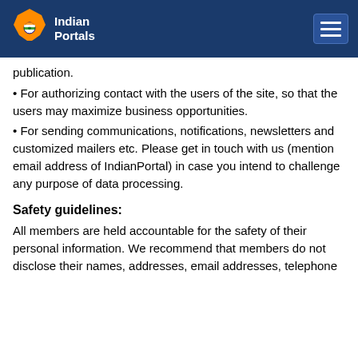[Figure (logo): Indian Portals logo with India map graphic in orange, white, and green colors on dark blue header background]
publication.
• For authorizing contact with the users of the site, so that the users may maximize business opportunities.
• For sending communications, notifications, newsletters and customized mailers etc. Please get in touch with us (mention email address of IndianPortal) in case you intend to challenge any purpose of data processing.
Safety guidelines:
All members are held accountable for the safety of their personal information. We recommend that members do not disclose their names, addresses, email addresses, telephone numbers, or any other information disclosing